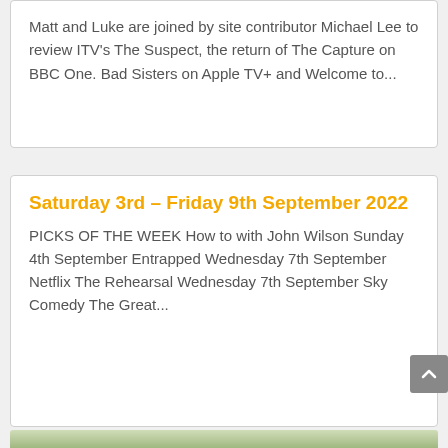Matt and Luke are joined by site contributor Michael Lee to review ITV's The Suspect, the return of The Capture on BBC One. Bad Sisters on Apple TV+ and Welcome to...
Saturday 3rd – Friday 9th September 2022
PICKS OF THE WEEK How to with John Wilson Sunday 4th September Entrapped Wednesday 7th September Netflix The Rehearsal Wednesday 7th September Sky Comedy The Great...
[Figure (photo): Partial photo visible at the bottom of the page showing a person in front of a window with multiple panes]